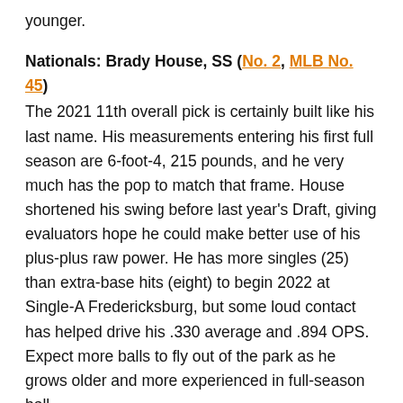younger.
Nationals: Brady House, SS (No. 2, MLB No. 45)
The 2021 11th overall pick is certainly built like his last name. His measurements entering his first full season are 6-foot-4, 215 pounds, and he very much has the pop to match that frame. House shortened his swing before last year's Draft, giving evaluators hope he could make better use of his plus-plus raw power. He has more singles (25) than extra-base hits (eight) to begin 2022 at Single-A Fredericksburg, but some loud contact has helped drive his .330 average and .894 OPS. Expect more balls to fly out of the park as he grows older and more experienced in full-season ball.
Phillies: Jhailyn Ortiz, OF (No. 12)
Ortiz really struggled in 2019, with a .653 OPS, and the phillies didn't think...